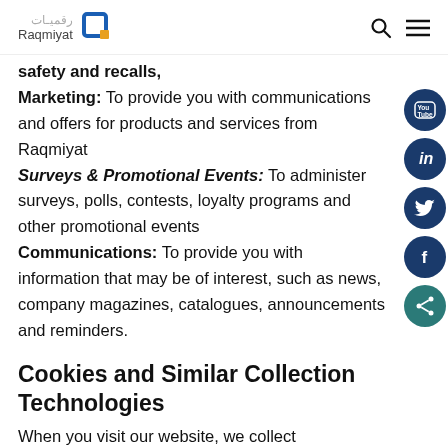Raqmiyat
Safety and recalls,
Marketing: To provide you with communications and offers for products and services from Raqmiyat
Surveys & Promotional Events: To administer surveys, polls, contests, loyalty programs and other promotional events
Communications: To provide you with information that may be of interest, such as news, company magazines, catalogues, announcements and reminders.
Cookies and Similar Collection Technologies
When you visit our website, we collect